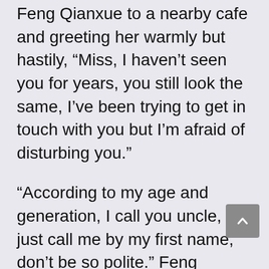Feng Qianxue to a nearby cafe and greeting her warmly but hastily, “Miss, I haven’t seen you for years, you still look the same, I’ve been trying to get in touch with you but I’m afraid of disturbing you.”
“According to my age and generation, I call you uncle, just call me by my first name, don’t be so polite.” Feng Qianxue said with a smile.
“How can this be?” Zhu Jianshan was a little flustered, “You are the daughter of Mr. Feng, Mr. Feng is my benefactor…”